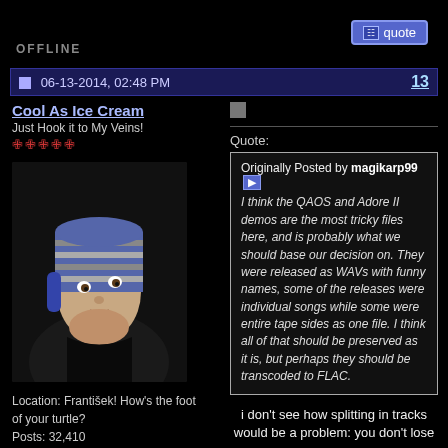OFFLINE
06-13-2014, 02:48 PM   13
Cool As Ice Cream
Just Hook it to My Veins!
★★★★★
[Figure (photo): Avatar photo of a young man wearing a striped winter hat, looking sideways]
Location: František! How's the foot of your turtle?
Posts: 32,410
Quote:
Originally Posted by magikarp99 ▶
I think the QAOS and Adore II demos are the most tricky files here, and is probably what we should base our decision on. They were released as WAVs with funny names, some of the releases were individual songs while some were entire tape sides as one file. I think all of that should be preserved as it is, but perhaps they should be transcoded to FLAC.
i don't see how splitting in tracks would be a problem: you don't lose